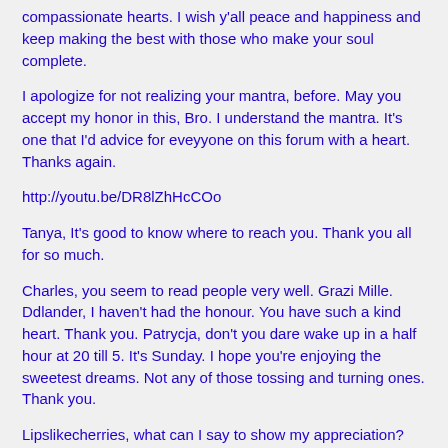compassionate hearts. I wish y'all peace and happiness and keep making the best with those who make your soul complete.
I apologize for not realizing your mantra, before. May you accept my honor in this, Bro. I understand the mantra. It's one that I'd advice for eveyyone on this forum with a heart. Thanks again.
http://youtu.be/DR8lZhHcCOo
Tanya, It's good to know where to reach you. Thank you all for so much.
Charles, you seem to read people very well. Grazi Mille. Ddlander, I haven't had the honour. You have such a kind heart. Thank you. Patrycja, don't you dare wake up in a half hour at 20 till 5. It's Sunday. I hope you're enjoying the sweetest dreams. Not any of those tossing and turning ones. Thank you.
Lipslikecherries, what can I say to show my appreciation?